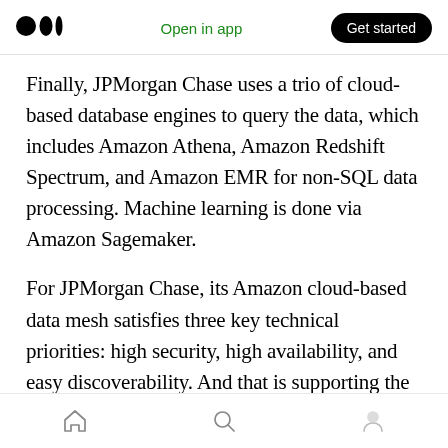Medium logo | Open in app | Get started
Finally, JPMorgan Chase uses a trio of cloud-based database engines to query the data, which includes Amazon Athena, Amazon Redshift Spectrum, and Amazon EMR for non-SQL data processing. Machine learning is done via Amazon Sagemaker.
For JPMorgan Chase, its Amazon cloud-based data mesh satisfies three key technical priorities: high security, high availability, and easy discoverability. And that is supporting the outcomes JPMorgan hopes to achieve with its data: cost savings, business value, and data
Home | Search | Profile